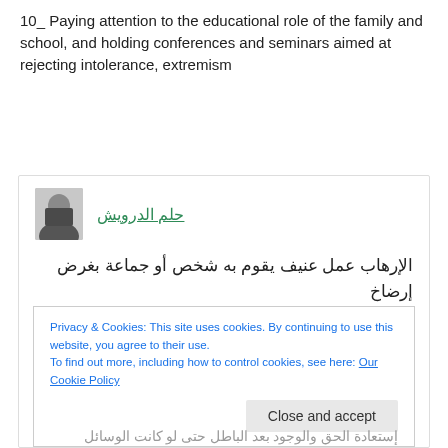10_ Paying attention to the educational role of the family and school, and holding conferences and seminars aimed at rejecting intolerance, extremism
[Figure (photo): User avatar photo of a man in a dark shirt]
حلم الدرويش
الإرهاب عمل عنيف يقوم به شخص أو جماعة بغرض إرضاخ الفرد أو المجتمع لآرائه أو أفكاره من خلال القوة ومحاولة زرع الخوف والقلق فى الجميع .
: أسباب الإرهاب
Privacy & Cookies: This site uses cookies. By continuing to use this website, you agree to their use.
To find out more, including how to control cookies, see here: Our Cookie Policy
Close and accept
إستعادة الحق والوجود بعد الباطل حتى لو كانت الوسائل